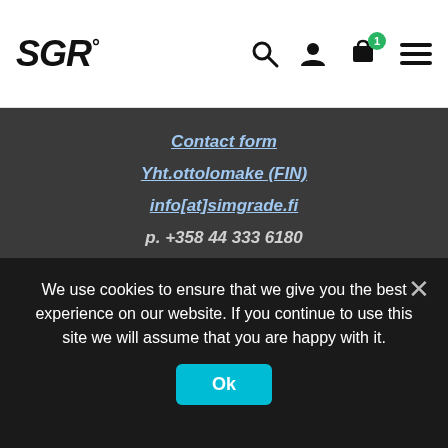[Figure (logo): SGR° logo in bold italic black text]
[Figure (infographic): Navigation icons: search, user, cart with badge '1', hamburger menu]
Contact form
Yht.ottolomake (FIN)
info[at]simgrade.fi
p. +358 44 333 6180
[Figure (logo): PayPal logo in blue with 'P PayPal' text]
[Figure (logo): American Express logo in blue outlined box]
[Figure (other): Four rectangular card placeholder boxes in a row]
We use cookies to ensure that we give you the best experience on our website. If you continue to use this site we will assume that you are happy with it.
Ok